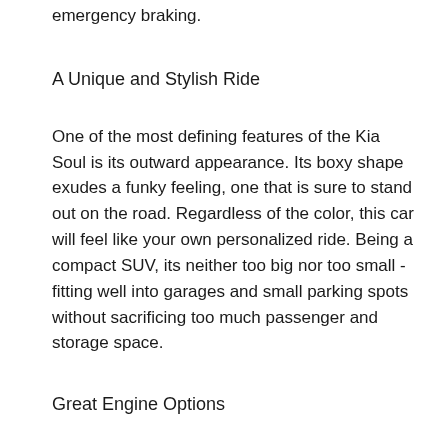emergency braking.
A Unique and Stylish Ride
One of the most defining features of the Kia Soul is its outward appearance. Its boxy shape exudes a funky feeling, one that is sure to stand out on the road. Regardless of the color, this car will feel like your own personalized ride. Being a compact SUV, its neither too big nor too small - fitting well into garages and small parking spots without sacrificing too much passenger and storage space.
Great Engine Options
There are three engine options for the different models, the strongest being the new